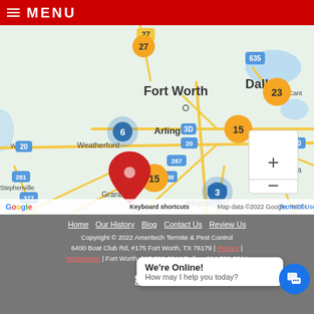MENU
[Figure (map): Google Maps view of the Dallas-Fort Worth area in Texas, showing clustered location markers. Blue markers with numbers: 6 (near Weatherford), 15 (near Fort Worth/Arlington border), 7 (southeast of Arlington), 3 (south of Fort Worth near I-35W). Yellow/orange markers: 27 (north), 23 (northeast Dallas area), 15 (central). Red marker near Granbury. Cities labeled: Fort Worth, Dallas, Arlington, Weatherford, Granbury, Corsicana, Hillsboro. Major roads shown. Map data ©2022 Google, INEGI.]
Home | Our History | Blog | Contact Us | Review Us
Copyright © 2022 Ameritech Termite & Pest Control
6400 Boat Club Rd, #175 Fort Worth, TX 76179 | Privacy | Webmaster | Fort Worth: 817-589-2844 Dallas: 214-589-2844
We're Online! How may I help you today?